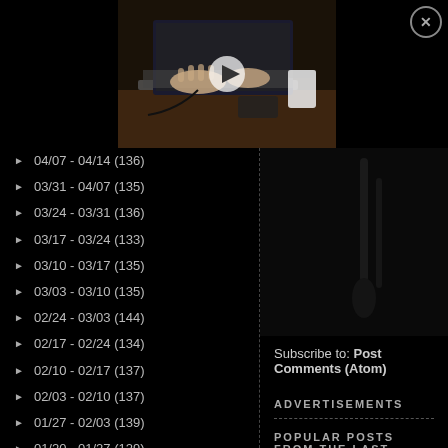[Figure (photo): Person typing on a laptop at a desk with a coffee cup. Video thumbnail with play button overlay.]
04/07 - 04/14 (136)
03/31 - 04/07 (135)
03/24 - 03/31 (136)
03/17 - 03/24 (133)
03/10 - 03/17 (135)
03/03 - 03/10 (135)
02/24 - 03/03 (144)
02/17 - 02/24 (134)
02/10 - 02/17 (137)
02/03 - 02/10 (137)
01/27 - 02/03 (139)
01/20 - 01/27 (129)
Subscribe to: Post Comments (Atom)
ADVERTISEMENTS
POPULAR POSTS FROM THE LAST